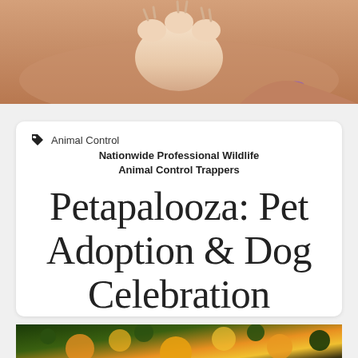[Figure (photo): Close-up photo of a dog's paw resting on a person's arm/hand, warm skin tones, person wearing a ring]
Animal Control
Nationwide Professional Wildlife Animal Control Trappers
Petapalooza: Pet Adoption & Dog Celebration
[Figure (photo): Partial photo at bottom showing colorful floral/nature scene with oranges and greens]